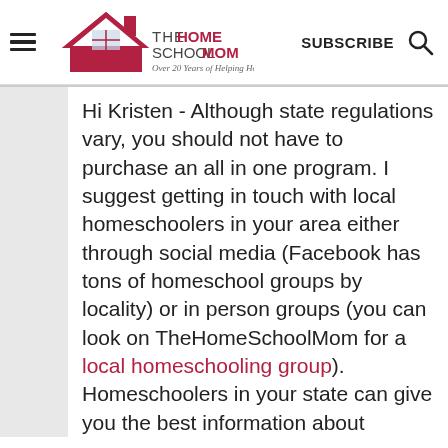THE HOMESCHOOL MOM – Over 20 Years of Helping Homeschoolers! | SUBSCRIBE
Hi Kristen - Although state regulations vary, you should not have to purchase an all in one program. I suggest getting in touch with local homeschoolers in your area either through social media (Facebook has tons of homeschool groups by locality) or in person groups (you can look on TheHomeSchoolMom for a local homeschooling group). Homeschoolers in your state can give you the best information about